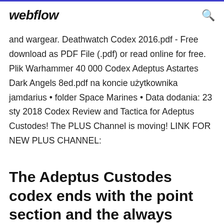webflow
and wargear. Deathwatch Codex 2016.pdf - Free download as PDF File (.pdf) or read online for free. Plik Warhammer 40 000 Codex Adeptus Astartes Dark Angels 8ed.pdf na koncie użytkownika jamdarius • folder Space Marines • Data dodania: 23 sty 2018 Codex Review and Tactica for Adeptus Custodes! The PLUS Channel is moving! LINK FOR NEW PLUS CHANNEL:
The Adeptus Custodes codex ends with the point section and the always forgettable Tactical